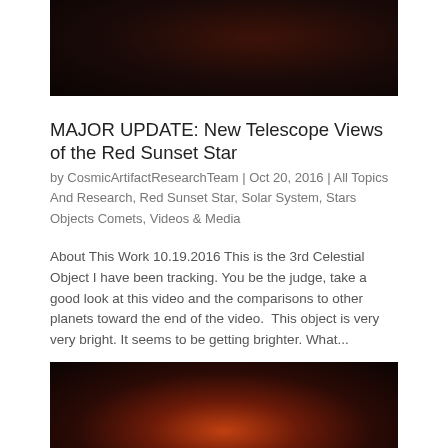[Figure (photo): Dark night sky photograph, very dark reddish-brown tones, appears to be an astronomical or sunset/night scene]
MAJOR UPDATE: New Telescope Views of the Red Sunset Star
by CosmicArtifactResearchTeam | Oct 20, 2016 | All Topics And Research, Red Sunset Star, Solar System, Stars Objects Comets, Videos & Media
About This Work 10.19.2016 This is the 3rd Celestial Object I have been tracking. You be the judge, take a good look at this video and the comparisons to other planets toward the end of the video.  This object is very very bright. It seems to be getting brighter. What...
[Figure (photo): Sunset or twilight sky photograph with orange/red glow on the horizon, silhouettes of trees or landscape visible at the bottom]